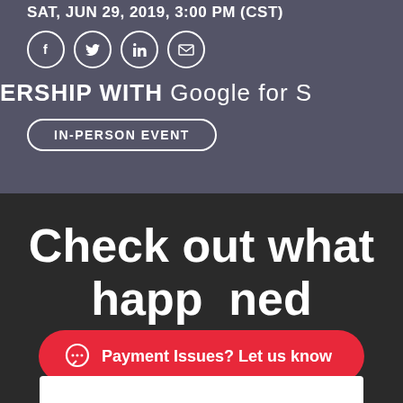SAT, JUN 29, 2019, 3:00 PM (CST)
[Figure (infographic): Four circular social media icons: Facebook, Twitter, LinkedIn, and Email/envelope, white outlines on blurred dark background]
ERSHIP WITH Google for S
IN-PERSON EVENT
Check out what happened
Payment Issues? Let us know